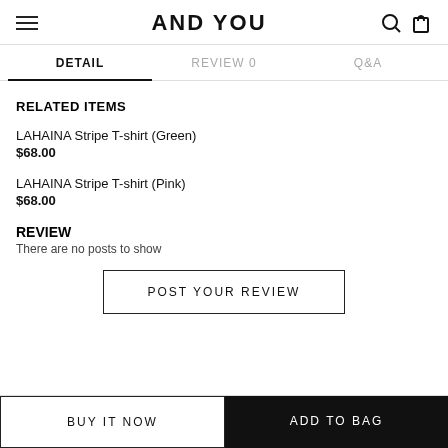AND YOU
DETAIL | REVIEW 0 | Q&A
RELATED ITEMS
LAHAINA Stripe T-shirt (Green)
$68.00
LAHAINA Stripe T-shirt (Pink)
$68.00
REVIEW
There are no posts to show
POST YOUR REVIEW
BUY IT NOW
ADD TO BAG